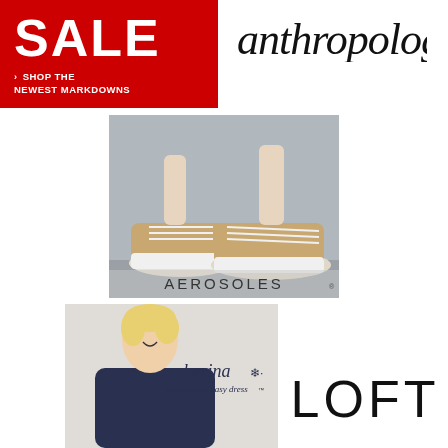[Figure (logo): Red SALE banner with white bold text 'SALE' and subtext '> SHOP THE NEWEST MARKDOWNS']
[Figure (logo): Anthropologie brand logo in cursive/script black text]
[Figure (photo): Aerosoles brand photo showing a woman's feet wearing tan/gold lace-up sneakers with white soles, with AEROSOLES brand name overlaid at bottom]
[Figure (photo): Karina Dresses photo showing a smiling blonde woman wearing a dark blue patterned dress with karina the original easy dress logo overlay]
[Figure (logo): LOFT brand logo in large bold black sans-serif text]